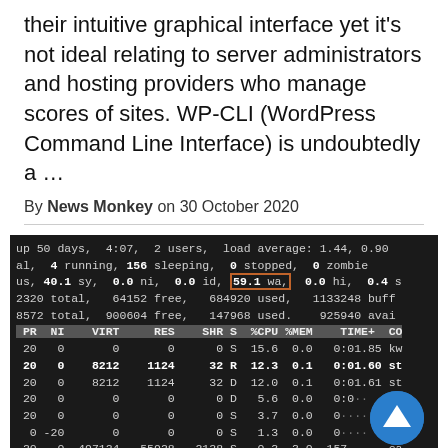their intuitive graphical interface yet it's not ideal relating to server administrators and hosting providers who manage scores of sites. WP-CLI (WordPress Command Line Interface) is undoubtedly a …
By News Monkey on 30 October 2020
[Figure (screenshot): Terminal screenshot showing Linux 'top' command output with system stats and process list. Highlighted box around '59.1 wa,' in the CPU line. Rows include PR, NI, VIRT, RES, SHR, S, %CPU, %MEM, TIME+, CO columns with various process data.]